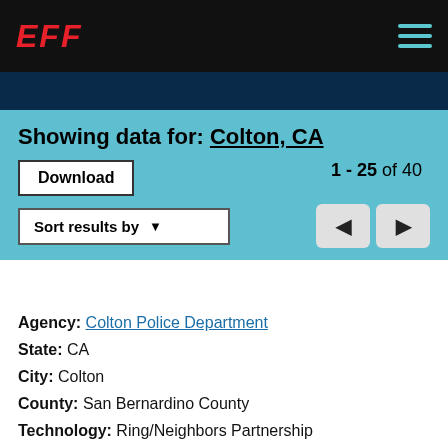EFF
Showing data for: Colton, CA
Download
1 - 25 of 40
Sort results by
Agency: Colton Police Department
State: CA
City: Colton
County: San Bernardino County
Technology: Ring/Neighbors Partnership
Vendor: Ring